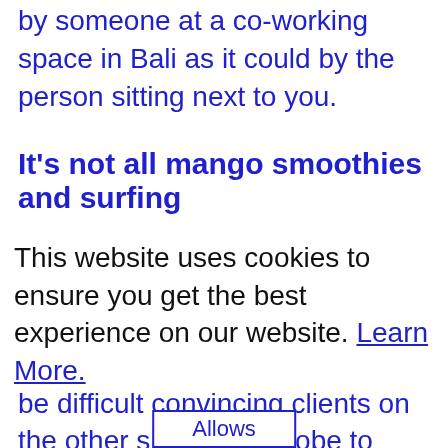by someone at a co-working space in Bali as it could by the person sitting next to you.
It's not all mango smoothies and surfing
Naturally, life as a digital nomad has its downsides. Working across different time zones is often cited as an issue and it can be difficult convincing clients on the other side of the globe to spend their money with you. Speaking more practically, loneliness and dodgy internet...
This website uses cookies to ensure you get the best experience on our website. Learn More.
offering high speed wi-fi and the chance to